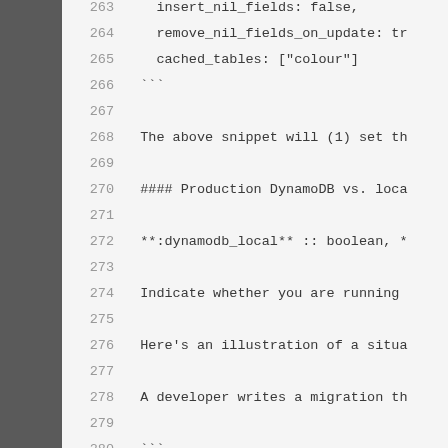263    insert_nil_fields: false,
264    remove_nil_fields_on_update: tr
265    cached_tables: ["colour"]
266  ```
267
268  The above snippet will (1) set th
269
270  #### Production DynamoDB vs. loca
271
272  **:dynamodb_local** :: boolean, *
273
274  Indicate whether you are running
275
276  Here's an illustration of a situa
277
278  A developer writes a migration th
279
280  ```
281  (ExAws.Error) ExAws Request Error
282  ```
283